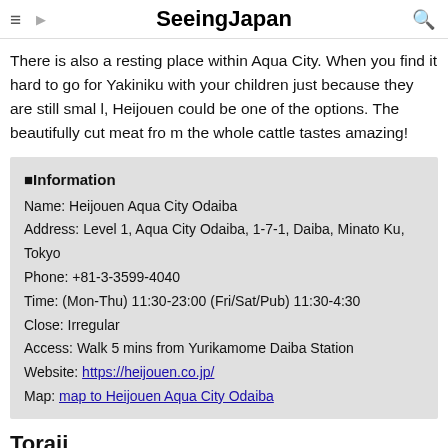SeeingJapan
There is also a resting place within Aqua City. When you find it hard to go for Yakiniku with your children just because they are still small, Heijouen could be one of the options. The beautifully cut meat from the whole cattle tastes amazing!
| ■Information |
| Name: Heijouen Aqua City Odaiba |
| Address: Level 1, Aqua City Odaiba, 1-7-1, Daiba, Minato Ku, Tokyo |
| Phone: +81-3-3599-4040 |
| Time: (Mon-Thu) 11:30-23:00 (Fri/Sat/Pub) 11:30-4:30 |
| Close: Irregular |
| Access: Walk 5 mins from Yurikamome Daiba Station |
| Website: https://heijouen.co.jp/ |
| Map: map to Heijouen Aqua City Odaiba |
Toraji
[Figure (photo): Toraji restaurant photo placeholder with caption: photo by kuma_101 / embedded from Instagram]
photo by kuma_101  /  embedded from Instagram
Many people visit Odaiba to go shopping. When you walk around t